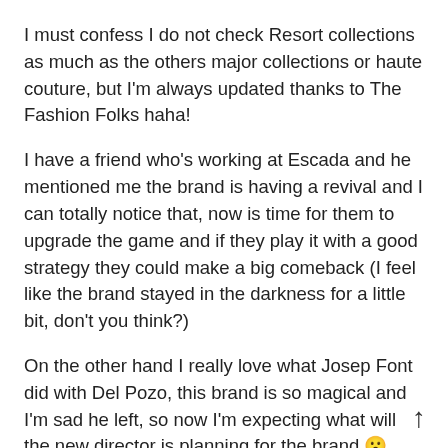I must confess I do not check Resort collections as much as the others major collections or haute couture, but I'm always updated thanks to The Fashion Folks haha!
I have a friend who's working at Escada and he mentioned me the brand is having a revival and I can totally notice that, now is time for them to upgrade the game and if they play it with a good strategy they could make a big comeback (I feel like the brand stayed in the darkness for a little bit, don't you think?)
On the other hand I really love what Josep Font did with Del Pozo, this brand is so magical and I'm sad he left, so now I'm expecting what will the new director is planning for the brand 😮